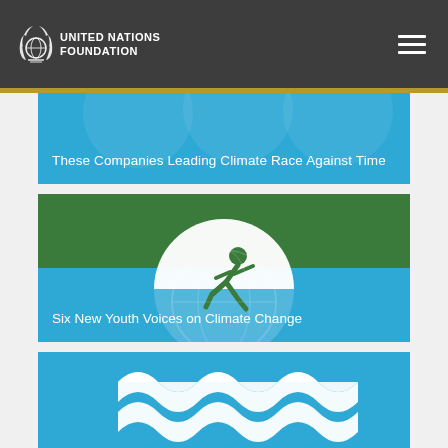UNITED NATIONS FOUNDATION
[Figure (screenshot): Blue card with text: These Companies Leading Climate Race Against Time]
These Companies Leading Climate Race Against Time
[Figure (screenshot): Green and blue card with globe/runner icon and text: Six New Youth Voices on Climate Change]
Six New Youth Voices on Climate Change
[Figure (screenshot): Blue card with white wave icons at bottom of page]